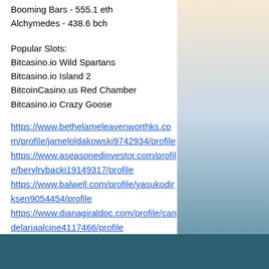Booming Bars - 555.1 eth
Alchymedes - 438.6 bch
Popular Slots:
Bitcasino.io Wild Spartans
Bitcasino.io Island 2
BitcoinCasino.us Red Chamber
Bitcasino.io Crazy Goose
https://www.bethelameleavenworthks.com/profile/jameloldakowski9742934/profile https://www.aseasonedinvestor.com/profile/berylrybacki19149317/profile https://www.balwell.com/profile/yasukodirksen9054454/profile https://www.dianagiraldoc.com/profile/candelariaalcine4117466/profile